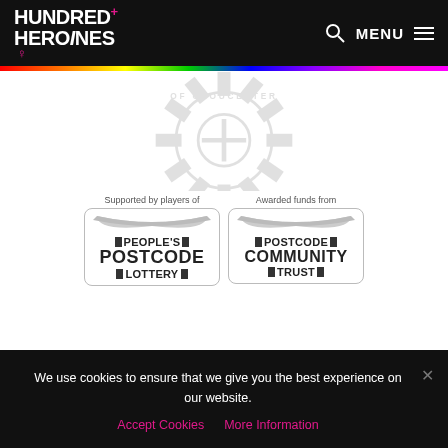HUNDRED+ HEROINES ♀ | MENU
[Figure (logo): Rotary Club of Gloucester gear/cog logo, grayscale, partially visible]
[Figure (logo): People's Postcode Lottery logo badge with text 'Supported by players of' above and ribbon graphic, grayscale]
[Figure (logo): Postcode Community Trust logo badge with text 'Awarded funds from' above and ribbon graphic, grayscale]
We use cookies to ensure that we give you the best experience on our website.
Accept Cookies  More Information